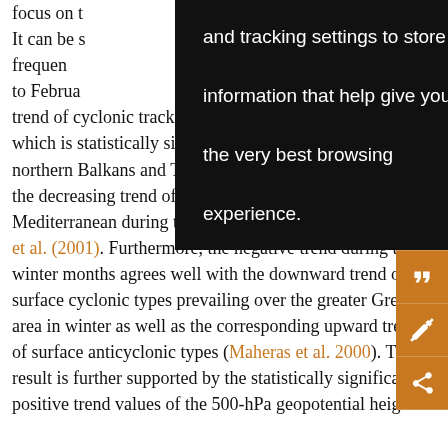focus on the and tracking settings to store information that help give you the very best browsing experience. It can be seen that the frequency of cyclonic tracks... from September to February ... negative trend of cyclonic tracks in winter over the Mediterranean, which is statistically significant at a = 0.1 over the northern Balkans and Turkey, found by Trigo (2006), and the decreasing trend of cyclonic occurrences in eastern Mediterranean during the rainy period found by Maheras et al. (2001). Furthermore, the negative trend during the winter months agrees well with the downward trend of surface cyclonic types prevailing over the greater Greek area in winter as well as the corresponding upward trend of surface anticyclonic types (Maheras et al. 2000). This result is further supported by the statistically significant positive trend values of the 500-hPa geopotential height
[Figure (screenshot): Browser cookie tooltip overlay with black background and white text reading: 'and tracking settings to store information that help give you the very best browsing experience.']